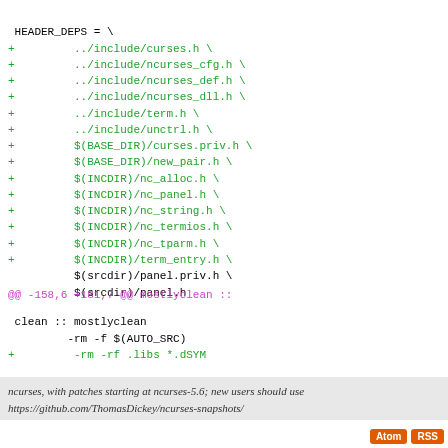HEADER_DEPS = \
+         ../include/curses.h \
+         ../include/ncurses_cfg.h \
+         ../include/ncurses_def.h \
+         ../include/ncurses_dll.h \
+         ../include/term.h \
+         ../include/unctrl.h \
+         $(BASE_DIR)/curses.priv.h \
+         $(BASE_DIR)/new_pair.h \
+         $(INCDIR)/nc_alloc.h \
+         $(INCDIR)/nc_panel.h \
+         $(INCDIR)/nc_string.h \
+         $(INCDIR)/nc_termios.h \
+         $(INCDIR)/nc_tparm.h \
+         $(INCDIR)/term_entry.h \
          $(srcdir)/panel.priv.h \
          $(srcdir)/panel.h
@@ -158,6 +181,7 @@ mostlyclean ::
clean :: mostlyclean
         -rm -f $(AUTO_SRC)
+         -rm -rf .libs *.dSYM

 distclean :: clean
         -rm -f Makefile
ncurses, with patches starting at ncurses-5.6; new users should use https://github.com/ThomasDickey/ncurses-snapshots/